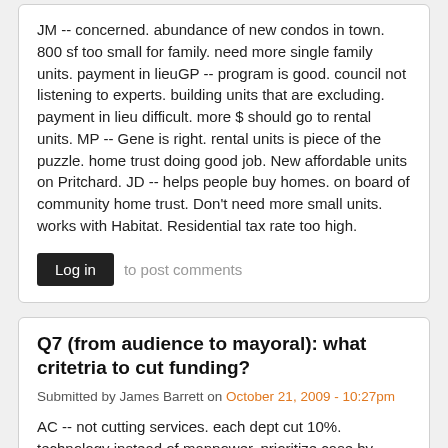JM -- concerned.  abundance of new condos in town.  800 sf too small for family.  need more single family units.  payment in lieuGP -- program is good.  council not listening to experts.  building units that are excluding.  payment in lieu difficult.  more $ should go to rental units.  MP -- Gene is right.  rental units is piece of the puzzle.  home trust doing good job.  New affordable units on Pritchard.  JD -- helps people buy homes.  on board of community home trust.  Don't need more small units.  works with Habitat.  Residential tax rate too high.
Log in to post comments
Q7 (from audience to mayoral): what critetria to cut funding?
Submitted by James Barrett on October 21, 2009 - 10:27pm
AC -- not cutting services.  each dept cut 10%.  technology instead of manpower.  prioritize case by case.MC -- not easy for CH.  people say every day tax burden not sustainable.  loses diversity (defined broadly).  do we increase taxes or